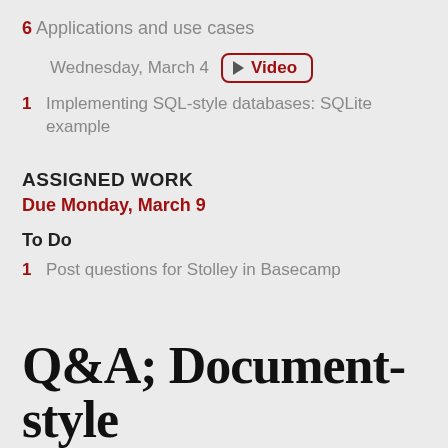6 Applications and use cases
Wednesday, March 4 ▶ Video
1 Implementing SQL-style databases: SQLite example
ASSIGNED WORK
Due Monday, March 9
To Do
1 Post questions for Stolley in Basecamp
Q&A; Document-style